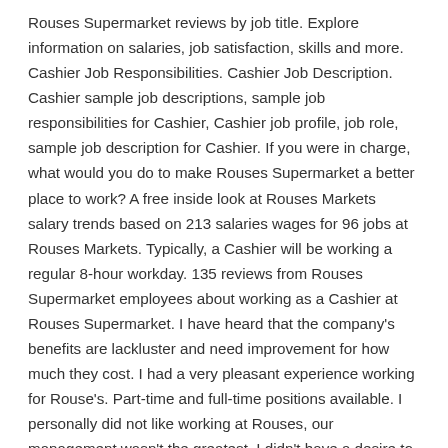Rouses Supermarket reviews by job title. Explore information on salaries, job satisfaction, skills and more. Cashier Job Responsibilities. Cashier Job Description. Cashier sample job descriptions, sample job responsibilities for Cashier, Cashier job profile, job role, sample job description for Cashier. If you were in charge, what would you do to make Rouses Supermarket a better place to work? A free inside look at Rouses Markets salary trends based on 213 salaries wages for 96 jobs at Rouses Markets. Typically, a Cashier will be working a regular 8-hour workday. 135 reviews from Rouses Supermarket employees about working as a Cashier at Rouses Supermarket. I have heard that the company's benefits are lackluster and need improvement for how much they cost. I had a very pleasant experience working for Rouse's. Part-time and full-time positions available. I personally did not like working at Rouses, our management wasn't the greatest. I didn't have a desire to remain with the company. Rouses Supermarket is a great place for people who want a first job that pays decently well as long as your money is just for you. Cashier Job Description Template. Rouses Markets Jobs - Browse careers with Rouses Markets including Buyer, Front End Manager, Department Manager, Merchandising, Accounting, and more They would then assign me to a cash register where I would scan items and bag them. The crew was awesome and management was helpful most of the time. Hours were